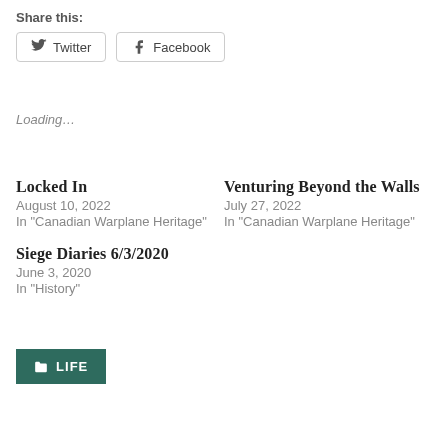Share this:
Twitter  Facebook
Loading…
Locked In
August 10, 2022
In "Canadian Warplane Heritage"
Venturing Beyond the Walls
July 27, 2022
In "Canadian Warplane Heritage"
Siege Diaries 6/3/2020
June 3, 2020
In "History"
LIFE